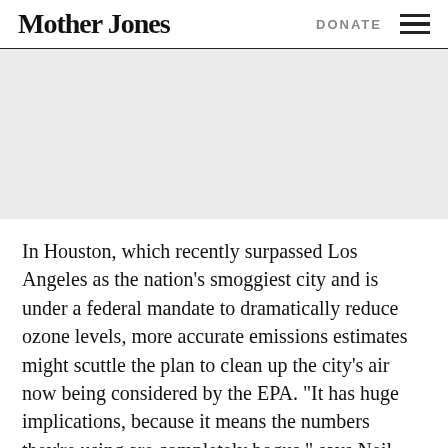Mother Jones | DONATE
[Figure (photo): Gray placeholder image area]
In Houston, which recently surpassed Los Angeles as the nation's smoggiest city and is under a federal mandate to dramatically reduce ozone levels, more accurate emissions estimates might scuttle the plan to clean up the city's air now being considered by the EPA. “It has huge implications, because it means the numbers they’re using are completely bogus,” says Neil Carman, a Sierra Club leader in Austin